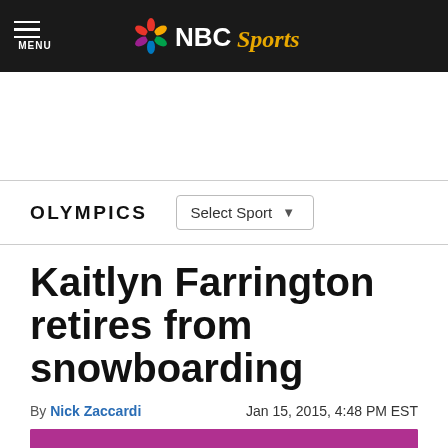NBC Sports
OLYMPICS
Kaitlyn Farrington retires from snowboarding
By Nick Zaccardi   Jan 15, 2015, 4:48 PM EST
[Figure (photo): Photo of Kaitlyn Farrington, partially cropped, with purple/magenta background]